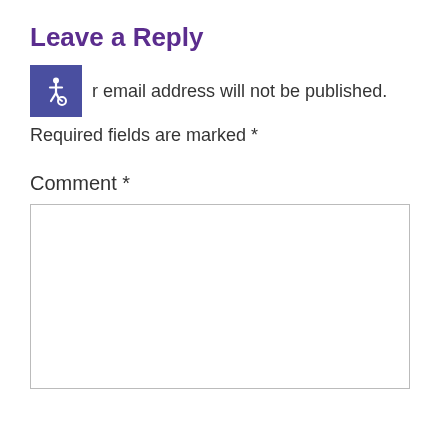Leave a Reply
[Figure (illustration): Accessibility wheelchair icon in a blue/purple square button, followed by partial text 'r email address will not be published.']
Required fields are marked *
Comment *
[Figure (other): Empty comment text area input box]